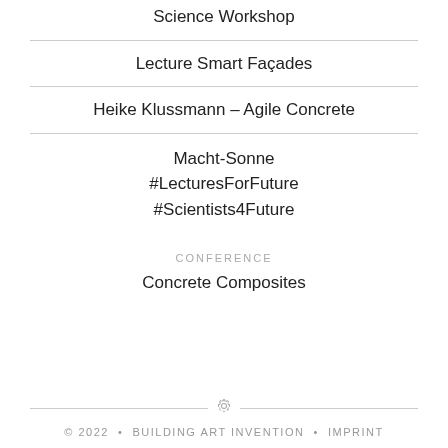Science Workshop
Lecture Smart Façades
Heike Klussmann – Agile Concrete
Macht-Sonne
#LecturesForFuture
#Scientists4Future
CONFERENCE
Concrete Composites
© 2022 • BUILDING ART INVENTION • IMPRINT